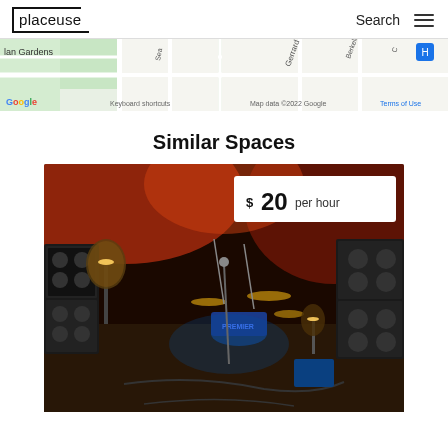placeuse | Search
[Figure (map): Google Maps partial view showing Gerrard St E, Berkeley area streets, with 'lan Gardens' label, Google branding, and map attribution text: Keyboard shortcuts | Map data ©2022 Google | Terms of Use]
Similar Spaces
[Figure (photo): Music rehearsal studio with drum kit in center, multiple Marshall amplifier stacks on sides, warm red and amber stage lighting, microphone stands, guitars visible. Price badge overlaid: $ 20 per hour]